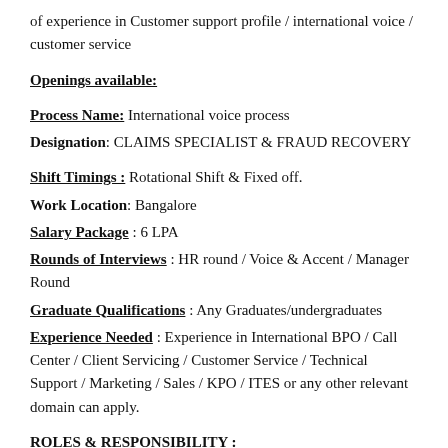of experience in Customer support profile / international voice / customer service
Openings available:
Process Name: International voice process
Designation: CLAIMS SPECIALIST & FRAUD RECOVERY
Shift Timings : Rotational Shift & Fixed off.
Work Location: Bangalore
Salary Package : 6 LPA
Rounds of Interviews : HR round / Voice & Accent / Manager Round
Graduate Qualifications : Any Graduates/undergraduates
Experience Needed : Experience in International BPO / Call Center / Client Servicing / Customer Service / Technical Support / Marketing / Sales / KPO / ITES or any other relevant domain can apply.
ROLES & RESPONSIBILITY :